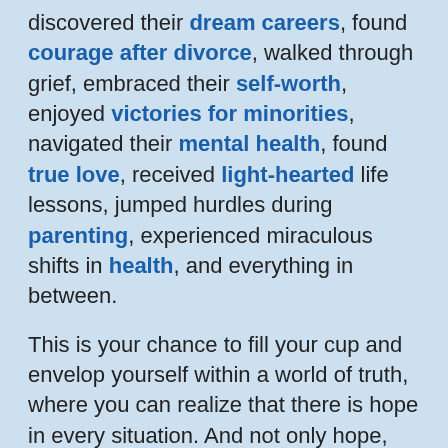discovered their dream careers, found courage after divorce, walked through grief, embraced their self-worth, enjoyed victories for minorities, navigated their mental health, found true love, received light-hearted life lessons, jumped hurdles during parenting, experienced miraculous shifts in health, and everything in between.
This is your chance to fill your cup and envelop yourself within a world of truth, where you can realize that there is hope in every situation. And not only hope, but a way to flourish, blossom, and come alive! Living is more than the act of keeping busy.
You will discover through these stories that